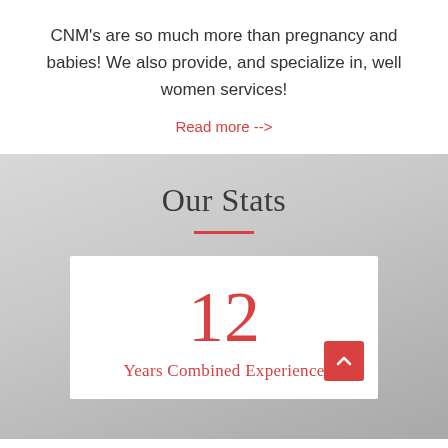CNM's are so much more than pregnancy and babies! We also provide, and specialize in, well women services!
Read more -->
Our Stats
12
Years Combined Experience